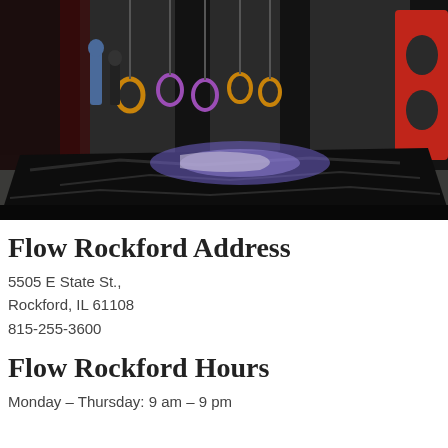[Figure (photo): Indoor obstacle course facility with hanging rings, foam pit covered with black tarp, colorful obstacle elements including red cutout shapes and rings suspended at various heights, taken outdoors or in large open facility. Purple/blue lighting on center foam area.]
Flow Rockford Address
5505 E State St.,
Rockford, IL 61108
815-255-3600
Flow Rockford Hours
Monday – Thursday: 9 am – 9 pm